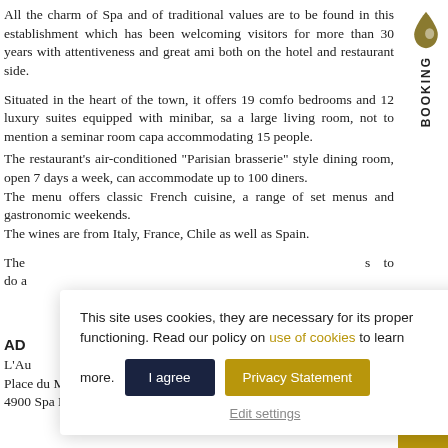All the charm of Spa and of traditional values are to be found in this establishment which has been welcoming visitors for more than 30 years with attentiveness and great ami both on the hotel and restaurant side.
Situated in the heart of the town, it offers 19 comfo bedrooms and 12 luxury suites equipped with minibar, sa a large living room, not to mention a seminar room capa accommodating 15 people. The restaurant's air-conditioned "Parisian brasserie" style dining room, open 7 days a week, can accommodate up to 100 diners. The menu offers classic French cuisine, a range of set menus and gastronomic weekends. The wines are from Italy, France, Chile as well as Spain.
The s to do a
This site uses cookies, they are necessary for its proper functioning. Read our policy on use of cookies to learn more.
I agree
Privacy Statement
Edit settings
AD
L'Au
Place du Monument, 3 – 4
4900 Spa Belgium